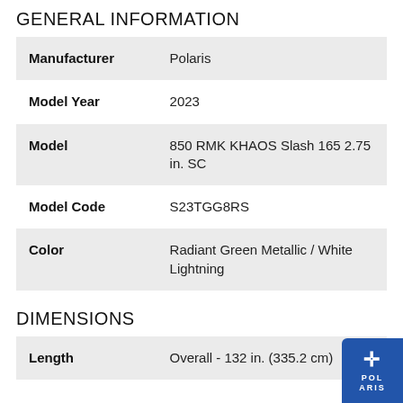GENERAL INFORMATION
| Manufacturer | Polaris |
| Model Year | 2023 |
| Model | 850 RMK KHAOS Slash 165 2.75 in. SC |
| Model Code | S23TGG8RS |
| Color | Radiant Green Metallic / White Lightning |
DIMENSIONS
| Length | Overall - 132 in. (335.2 cm) |